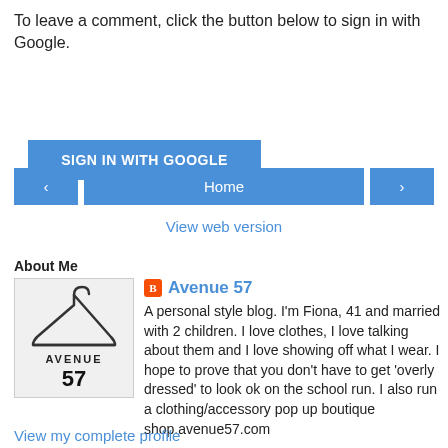To leave a comment, click the button below to sign in with Google.
[Figure (other): Blue button labeled SIGN IN WITH GOOGLE]
[Figure (other): Navigation row with left arrow button, Home button, and right arrow button]
View web version
About Me
[Figure (logo): Avenue 57 logo: clothes hanger above text AVENUE 57]
Avenue 57
A personal style blog. I'm Fiona, 41 and married with 2 children. I love clothes, I love talking about them and I love showing off what I wear. I hope to prove that you don't have to get 'overly dressed' to look ok on the school run. I also run a clothing/accessory pop up boutique shop.avenue57.com
View my complete profile